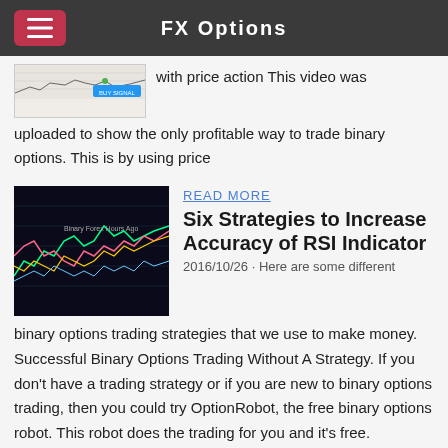FX Options
[Figure (screenshot): Trading chart thumbnail with BUY SIGNAL label]
with price action This video was uploaded to show the only profitable way to trade binary options. This is by using price
READ MORE
[Figure (screenshot): Dark trading chart showing RSI indicator with colorful lines]
Six Strategies to Increase Accuracy of RSI Indicator
2016/10/26 · Here are some different binary options trading strategies that we use to make money. Successful Binary Options Trading Without A Strategy. If you don't have a trading strategy or if you are new to binary options trading, then you could try OptionRobot, the free binary options robot. This robot does the trading for you and it's free.
READ MORE
[Figure (screenshot): Dark trading chart thumbnail at bottom of page]